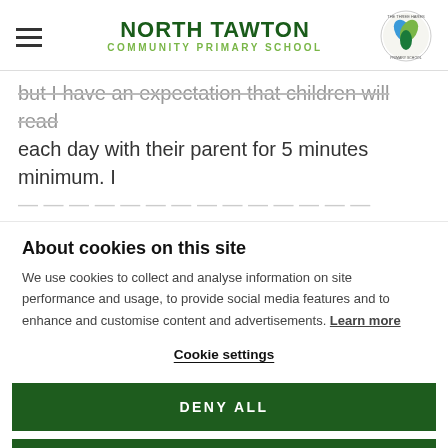NORTH TAWTON COMMUNITY PRIMARY SCHOOL
but I have an expectation that children will read each day with their parent for 5 minutes minimum. I
About cookies on this site
We use cookies to collect and analyse information on site performance and usage, to provide social media features and to enhance and customise content and advertisements. Learn more
Cookie settings
DENY ALL
ALLOW ALL COOKIES